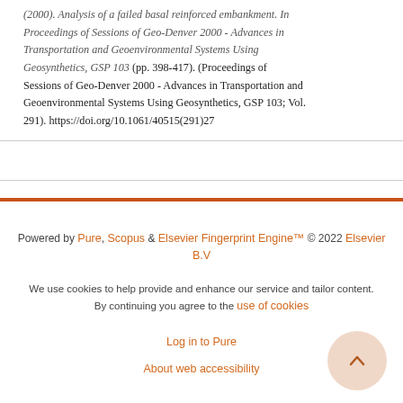(2000). Analysis of a failed basal reinforced embankment. In Proceedings of Sessions of Geo-Denver 2000 - Advances in Transportation and Geoenvironmental Systems Using Geosynthetics, GSP 103 (pp. 398-417). (Proceedings of Sessions of Geo-Denver 2000 - Advances in Transportation and Geoenvironmental Systems Using Geosynthetics, GSP 103; Vol. 291). https://doi.org/10.1061/40515(291)27
Powered by Pure, Scopus & Elsevier Fingerprint Engine™ © 2022 Elsevier B.V
We use cookies to help provide and enhance our service and tailor content. By continuing you agree to the use of cookies
Log in to Pure
About web accessibility